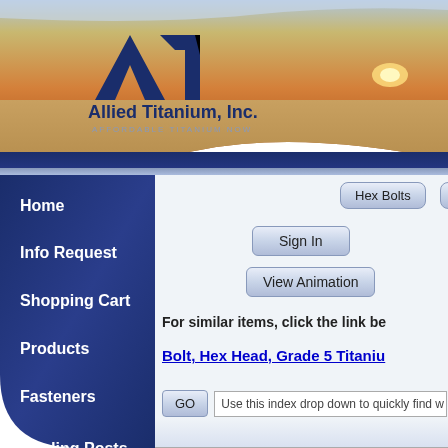[Figure (screenshot): Allied Titanium, Inc. website header banner with sunset/beach background image and company logo showing 'AT' monogram with 'Allied Titanium, Inc.' and tagline 'AFFORDABLE TITANIUM NOW']
Allied Titanium, Inc. — AFFORDABLE TITANIUM NOW
Home
Info Request
Shopping Cart
Products
Fasteners
Binding Posts
Hex Bolts
Ta
Sign In
View Animation
For similar items, click the link be
Bolt, Hex Head, Grade 5 Titaniu
GO
Use this index drop down to quickly find w